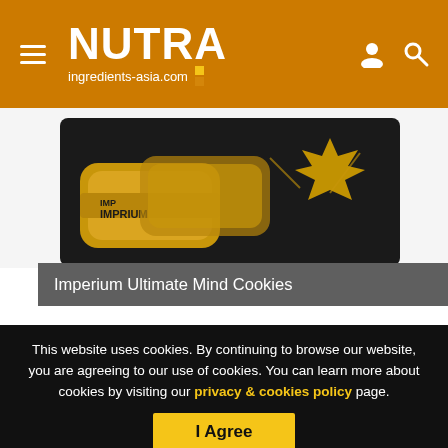NUTRA ingredients-asia.com
[Figure (photo): Imperium Ultimate Mind Cookies product photo showing gold-wrapped cookie packets and a dark bag with a gold maple leaf logo]
Imperium Ultimate Mind Cookies
Aside from chocolate beverage, the Imperium line also features a functional cookie under the product name Ultimate Mind.
This website uses cookies. By continuing to browse our website, you are agreeing to our use of cookies. You can learn more about cookies by visiting our privacy & cookies policy page.